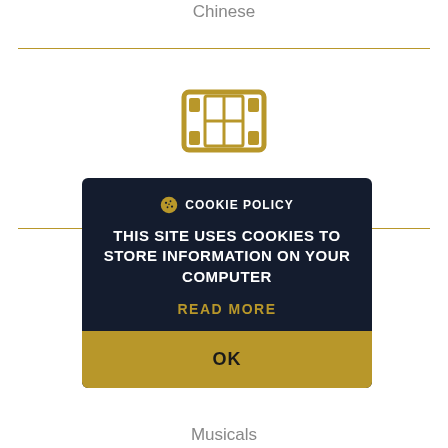Chinese
[Figure (illustration): Film reel icon in gold/dark yellow color]
COOKIE POLICY
THIS SITE USES COOKIES TO STORE INFORMATION ON YOUR COMPUTER
READ MORE
OK
Musicals